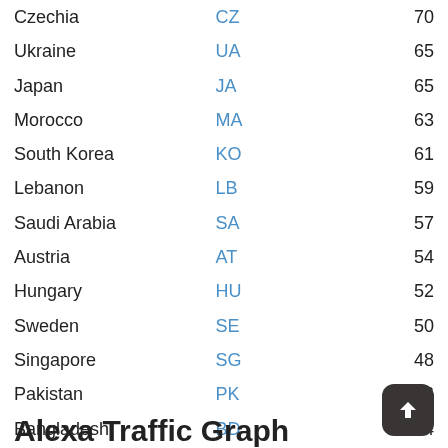| Country | Code | Value |
| --- | --- | --- |
| Czechia | CZ | 70 |
| Ukraine | UA | 65 |
| Japan | JA | 65 |
| Morocco | MA | 63 |
| South Korea | KO | 61 |
| Lebanon | LB | 59 |
| Saudi Arabia | SA | 57 |
| Austria | AT | 54 |
| Hungary | HU | 52 |
| Sweden | SE | 50 |
| Singapore | SG | 48 |
| Pakistan | PK | 46 |
| Bangladesh | BD | 44 |
| Denmark | DK | 41 |
| Greece | GR | 39 |
Alexa Traffic Graph